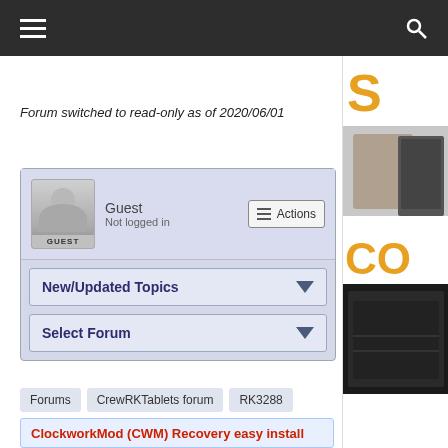Forum switched to read-only as of 2020/06/01
Guest
Not logged in
Actions
New/Updated Topics
Select Forum
Forums
CrewRKTablets forum
RK3288
RK3288 Entwicklung und Custo...
ClockworkMod (CWM) Recovery easy install
[Figure (illustration): Sidebar advertisement showing partial letter S and product image (bag/device)]
[Figure (illustration): Sidebar advertisement showing CO text and dark device image]